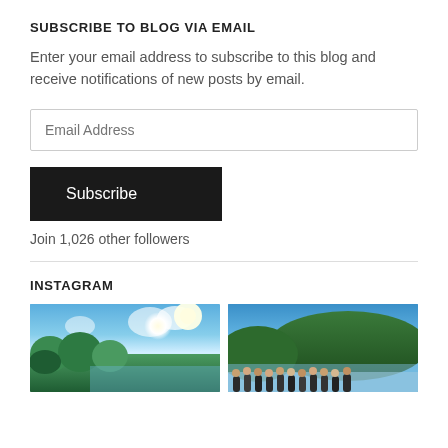SUBSCRIBE TO BLOG VIA EMAIL
Enter your email address to subscribe to this blog and receive notifications of new posts by email.
Email Address
Subscribe
Join 1,026 other followers
INSTAGRAM
[Figure (photo): Outdoor nature photo showing blue sky with clouds, bright sunlight, green trees and a lake]
[Figure (photo): Group photo of people standing near a lake with green forested hills and blue sky in background]